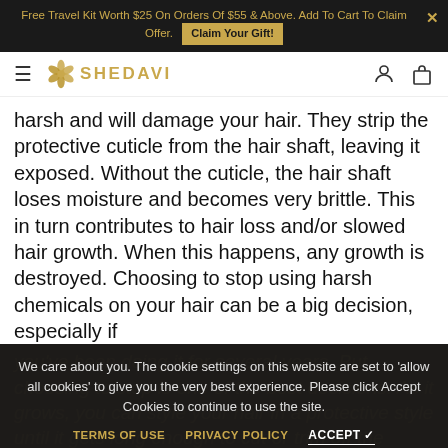Free Travel Kit Worth $25 On Orders Of $55 & Above. Add To Cart To Claim Offer. [Claim Your Gift!]
[Figure (logo): Shedavi logo with gold flower emblem and text SHEDAVI]
harsh and will damage your hair. They strip the protective cuticle from the hair shaft, leaving it exposed. Without the cuticle, the hair shaft loses moisture and becomes very brittle. This in turn contributes to hair loss and/or slowed hair growth. When this happens, any growth is destroyed. Choosing to stop using harsh chemicals on your hair can be a big decision, especially if
you've been doing it for several years. But choosing to stop is one of the best decisions. As it grows, you can style your hair in a protective style until it gets long enough to cut or trim off the damaged hair.
We care about you. The cookie settings on this website are set to 'allow all cookies' to give you the very best experience. Please click Accept Cookies to continue to use the site.
TERMS OF USE   PRIVACY POLICY   ACCEPT ✓
Coloring your hair to a shade lighter than your natural